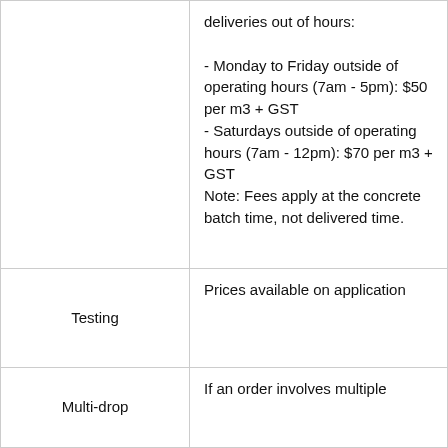|  | deliveries out of hours:

- Monday to Friday outside of operating hours (7am - 5pm): $50 per m3 + GST
- Saturdays outside of operating hours (7am - 12pm): $70 per m3 + GST
Note: Fees apply at the concrete batch time, not delivered time. |
| Testing | Prices available on application |
| Multi-drop | If an order involves multiple |